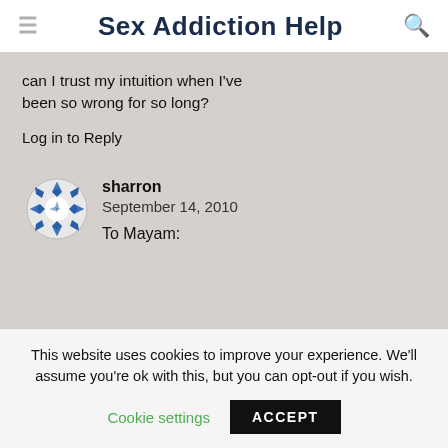Sex Addiction Help
can I trust my intuition when I’ve been so wrong for so long?
Log in to Reply
sharron
September 14, 2010
To Mayam:
This website uses cookies to improve your experience. We'll assume you're ok with this, but you can opt-out if you wish.